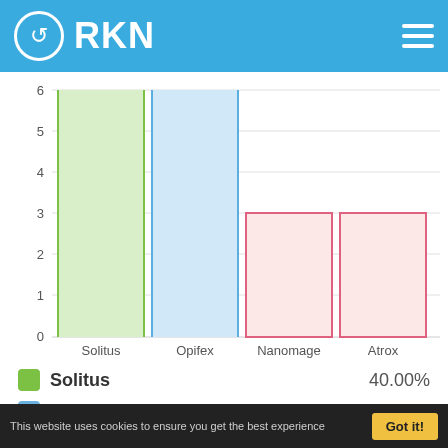[Figure (bar-chart): RKN comparison chart]
Solitus  40.00%
Opifex  36.00%